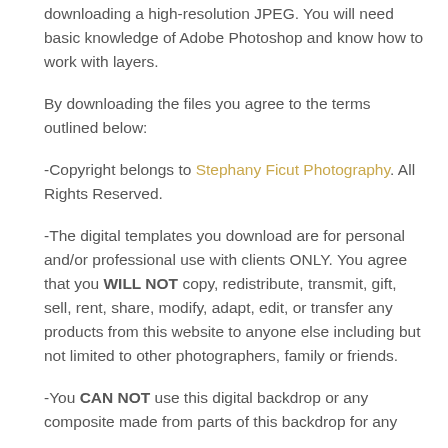downloading a high-resolution JPEG. You will need basic knowledge of Adobe Photoshop and know how to work with layers.
By downloading the files you agree to the terms outlined below:
-Copyright belongs to Stephany Ficut Photography. All Rights Reserved.
-The digital templates you download are for personal and/or professional use with clients ONLY. You agree that you WILL NOT copy, redistribute, transmit, gift, sell, rent, share, modify, adapt, edit, or transfer any products from this website to anyone else including but not limited to other photographers, family or friends.
-You CAN NOT use this digital backdrop or any composite made from parts of this backdrop for any